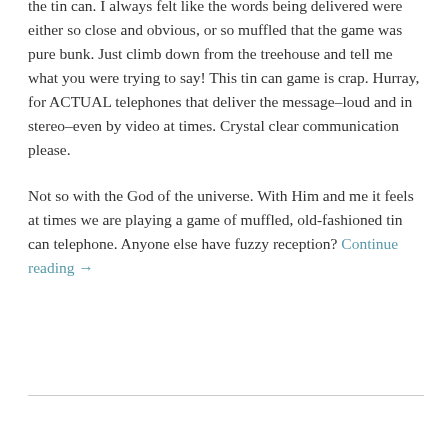the tin can. I always felt like the words being delivered were either so close and obvious, or so muffled that the game was pure bunk. Just climb down from the treehouse and tell me what you were trying to say! This tin can game is crap. Hurray, for ACTUAL telephones that deliver the message–loud and in stereo–even by video at times. Crystal clear communication please.
Not so with the God of the universe. With Him and me it feels at times we are playing a game of muffled, old-fashioned tin can telephone. Anyone else have fuzzy reception? Continue reading →